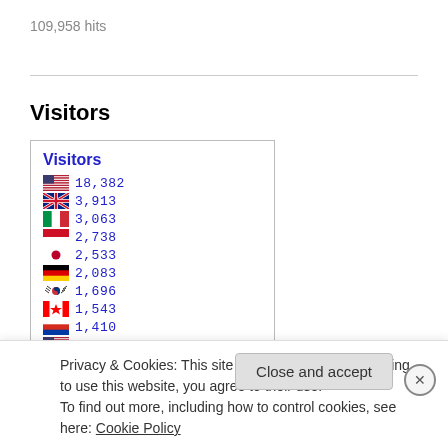109,958 hits
Visitors
[Figure (other): Visitors widget showing country flags and visitor counts: US 18,382; UK 3,913; Italy 3,063; Indonesia 2,738; Japan 2,533; Germany 2,083; South Korea 1,696; Canada 1,543; Russia 1,410; (unknown) 1,388; France 1,362; (partially visible) 1,104]
Privacy & Cookies: This site uses cookies. By continuing to use this website, you agree to their use.
To find out more, including how to control cookies, see here: Cookie Policy
Close and accept
Advertisements